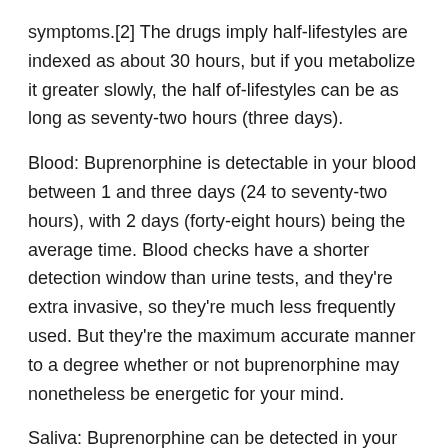symptoms.[2] The drugs imply half-lifestyles are indexed as about 30 hours, but if you metabolize it greater slowly, the half of-lifestyles can be as long as seventy-two hours (three days).
Blood: Buprenorphine is detectable in your blood between 1 and three days (24 to seventy-two hours), with 2 days (forty-eight hours) being the average time. Blood checks have a shorter detection window than urine tests, and they're extra invasive, so they're much less frequently used. But they're the maximum accurate manner to a degree whether or not buprenorphine may nonetheless be energetic for your mind.
Saliva: Buprenorphine can be detected in your saliva for up to three days after you have got stopped taking it.[3]
Urine: While most buprenorphine is removed thru feces, some of its miles are eliminated through urine. In urine, metabolites may be detected for up to 6 days.